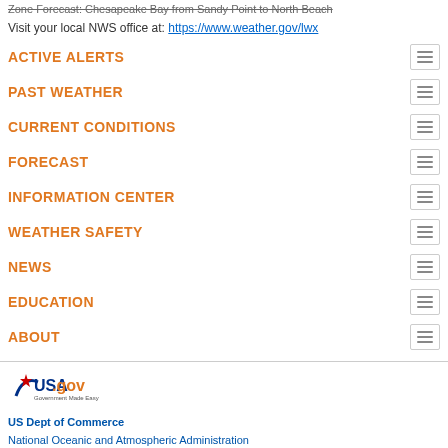Zone Forecast: Chesapeake Bay from Sandy Point to North Beach
Visit your local NWS office at: https://www.weather.gov/lwx
ACTIVE ALERTS
PAST WEATHER
CURRENT CONDITIONS
FORECAST
INFORMATION CENTER
WEATHER SAFETY
NEWS
EDUCATION
ABOUT
US Dept of Commerce
National Oceanic and Atmospheric Administration
National Weather Service
Baltimore/Washington